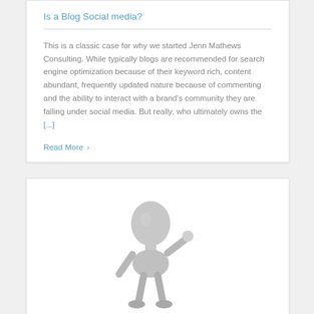Is a Blog Social media?
This is a classic case for why we started Jenn Mathews Consulting. While typically blogs are recommended for search engine optimization because of their keyword rich, content abundant, frequently updated nature because of commenting and the ability to interact with a brand's community they are falling under social media. But really, who ultimately owns the [...]
Read More >
[Figure (illustration): A 3D rendered gray stick figure / mannequin character standing, appearing to hold or gesture with one arm raised]